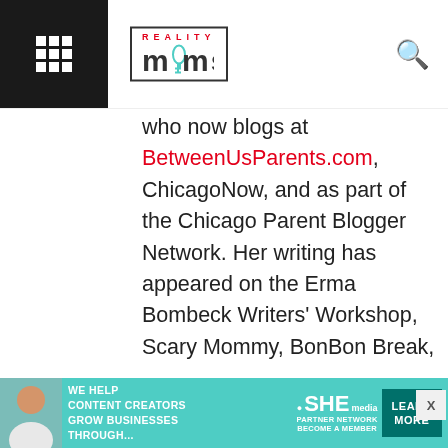Reality Moms
who now blogs at BetweenUsParents.com, ChicagoNow, and as part of the Chicago Parent Blogger Network. Her writing has appeared on the Erma Bombeck Writers' Workshop, Scary Mommy, BonBon Break, Brain Child and In the Powder Room, and her essays have been included in two anthologies by The HerStories Project. She is also freelance writer for regional magazines. Shannan was in the 2013 cast of Listen to Your Mother, despite the fact that her daughter often fails
[Figure (infographic): Advertisement banner: SHE Media Partner Network. Text: 'We help content creators grow businesses through...' with Learn More button.]